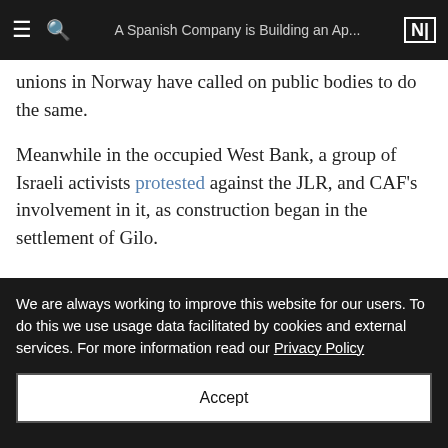A Spanish Company is Building an Ap...
unions in Norway have called on public bodies to do the same.

Meanwhile in the occupied West Bank, a group of Israeli activists protested against the JLR, and CAF’s involvement in it, as construction began in the settlement of Gilo.
We are always working to improve this website for our users. To do this we use usage data facilitated by cookies and external services. For more information read our Privacy Policy
Accept